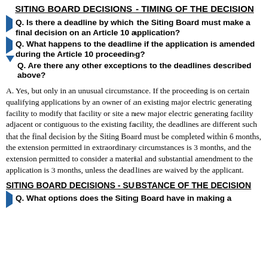SITING BOARD DECISIONS - TIMING OF THE DECISION
Q. Is there a deadline by which the Siting Board must make a final decision on an Article 10 application?
Q. What happens to the deadline if the application is amended during the Article 10 proceeding?
Q. Are there any other exceptions to the deadlines described above?
A. Yes, but only in an unusual circumstance. If the proceeding is on certain qualifying applications by an owner of an existing major electric generating facility to modify that facility or site a new major electric generating facility adjacent or contiguous to the existing facility, the deadlines are different such that the final decision by the Siting Board must be completed within 6 months, the extension permitted in extraordinary circumstances is 3 months, and the extension permitted to consider a material and substantial amendment to the application is 3 months, unless the deadlines are waived by the applicant.
SITING BOARD DECISIONS - SUBSTANCE OF THE DECISION
Q. What options does the Siting Board have in making a